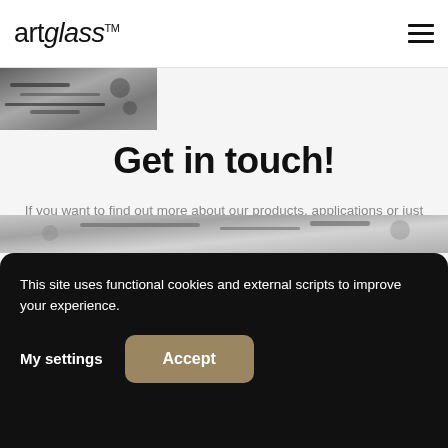artglass™
[Figure (photo): Partial photo of glass/framing tools or art glass crafting materials, black and white, cropped at top-left]
Get in touch!
If you want to find out more about our products, applications or just reach out – feel free contact us! Our team is ready to answer your questions.
This site uses functional cookies and external scripts to improve your experience.
My settings
Accept
[Figure (photo): Partial bottom photo of art glass or framing tools, black and white, partially visible]